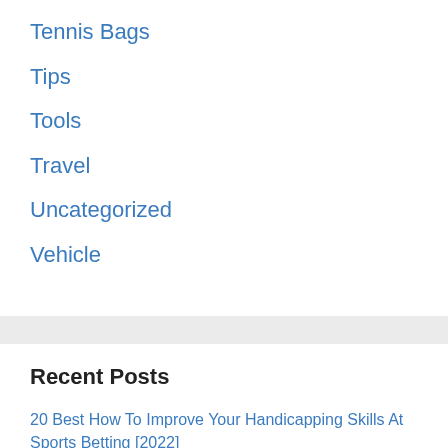Tennis Bags
Tips
Tools
Travel
Uncategorized
Vehicle
Recent Posts
20 Best How To Improve Your Handicapping Skills At Sports Betting [2022]
20 Best 5 Proven Horse Betting Strategies & Systems To Try In 2022 [2022]